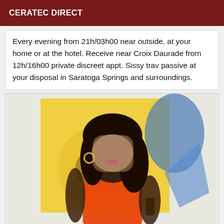CERATEC DIRECT
Every evening from 21h/03h00 near outside, at your home or at the hotel. Receive near Croix Daurade from 12h/16h00 private discreet appt. Sissy trav passive at your disposal in Saratoga Springs and surroundings.
[Figure (photo): Person with blurred face, dark wavy hair, wearing a red spaghetti-strap top, with colorful yellow/blue painting in the background]